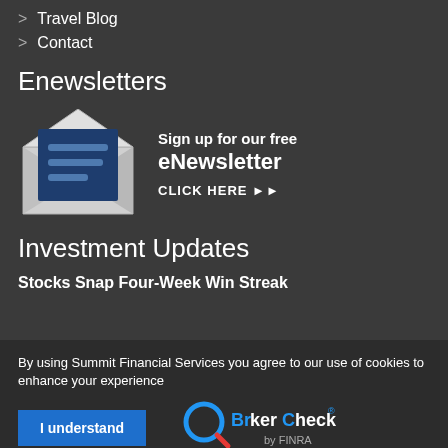> Travel Blog
> Contact
Enewsletters
[Figure (illustration): Envelope icon with dark blue letter inside, open envelope showing lines of text]
Sign up for our free eNewsletter CLICK HERE ▶▶
Investment Updates
Stocks Snap Four-Week Win Streak
By using Summit Financial Services you agree to our use of cookies to enhance your experience
I understand
[Figure (logo): BrokerCheck by FINRA logo]